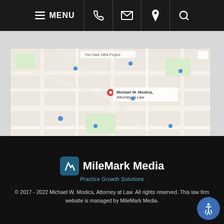MENU [phone] [email] [location] [search]
[Figure (map): Google Maps embed showing location of Michael W. Modica, Attorney at Law]
[Figure (logo): Facebook social media icon overlay]
[Figure (logo): MileMark Media logo with tagline 'Practice Growth Solutions']
© 2017 - 2022 Michael W. Modica, Attorney at Law. All rights reserved. This law firm website is managed by MileMark Media.